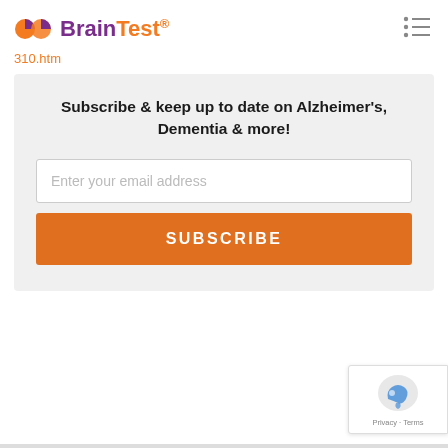BrainTest® 310.htm
Subscribe & keep up to date on Alzheimer's, Dementia & more!
Enter your email address
SUBSCRIBE
[Figure (logo): reCAPTCHA badge with Privacy and Terms links]